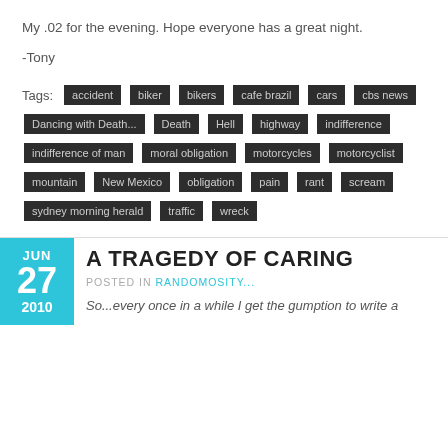My .02 for the evening. Hope everyone has a great night.
-Tony
Tags: accident biker bikers cafe brazil cars cbs news Dancing with Death... Death Hell highway indifference indifference of man moral obligation motorcycles motorcyclist mountain New Mexico obligation pain rant scream sydney morning herald traffic wreck
A TRAGEDY OF CARING
POSTED IN RANDOMOSITY...
So...every once in a while I get the gumption to write a